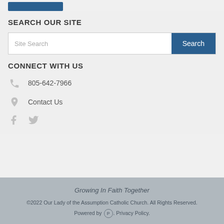SEARCH OUR SITE
Site Search | Search
CONNECT WITH US
805-642-7966
Contact Us
[Figure (illustration): Facebook and Twitter social media icons in light grey]
Growing In Faith Together
©2022 Our Lady of the Assumption Catholic Church. All Rights Reserved. Powered by [P]. Privacy Policy.